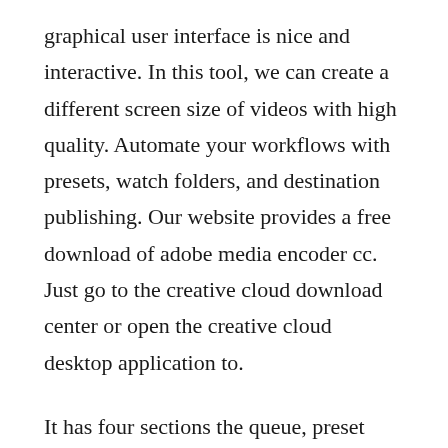graphical user interface is nice and interactive. In this tool, we can create a different screen size of videos with high quality. Automate your workflows with presets, watch folders, and destination publishing. Our website provides a free download of adobe media encoder cc. Just go to the creative cloud download center or open the creative cloud desktop application to.
It has four sections the queue, preset browser, encoding, and the watch folder. Adobe media encoder cc 2015 as its name is a powerful